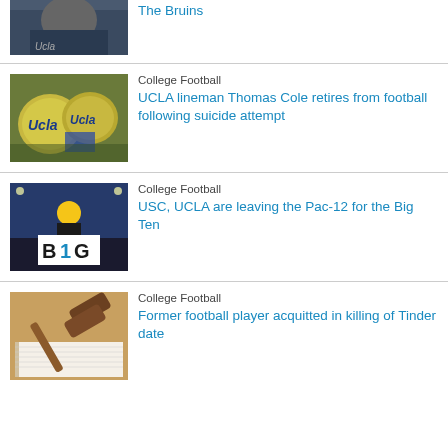[Figure (photo): Partial top image — person in UCLA jacket]
The Bruins
[Figure (photo): UCLA football helmets with gold and blue coloring]
College Football
UCLA lineman Thomas Cole retires from football following suicide attempt
[Figure (photo): Football player holding Big Ten (B1G) sign at stadium]
College Football
USC, UCLA are leaving the Pac-12 for the Big Ten
[Figure (photo): Gavel on book — legal/court image]
College Football
Former football player acquitted in killing of Tinder date